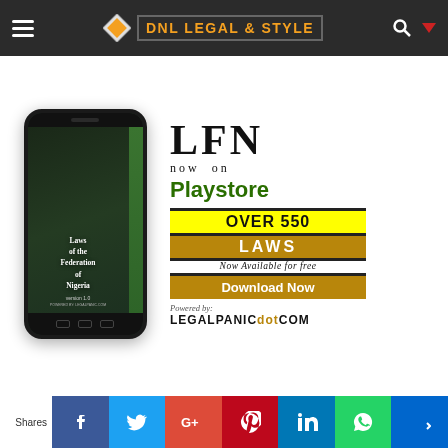DNL LEGAL & STYLE
[Figure (screenshot): Smartphone mockup showing Laws of the Federation of Nigeria app, version 1.0, powered by legalpanic.com]
LFN now on Playstore OVER 550 LAWS Now Available for free Download Now Powered by: LEGALPANICdotCOM
Shares